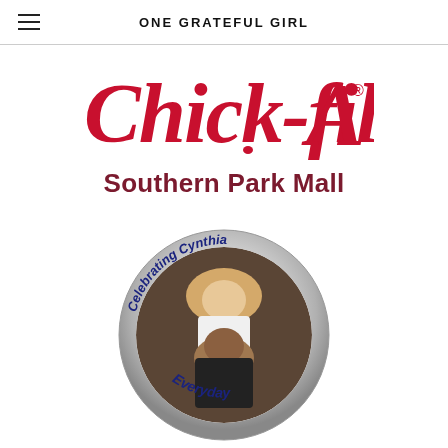ONE GRATEFUL GIRL
[Figure (logo): Chick-fil-A logo in red script lettering with registered trademark symbol]
Southern Park Mall
[Figure (photo): A circular button/pin with silver metallic border reading 'Celebrating Cynthia' on top arc and 'Everyday' on bottom arc, with a photo of two people in the center]